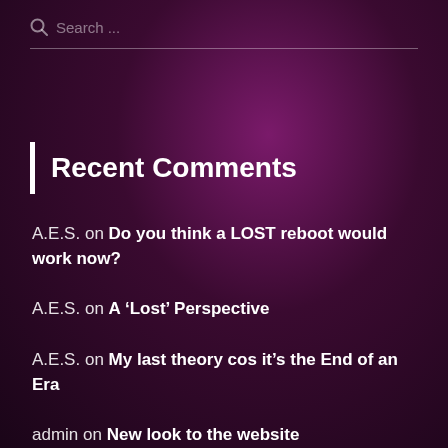Search ...
Recent Comments
A.E.S. on Do you think a LOST reboot would work now?
A.E.S. on A ‘Lost’ Perspective
A.E.S. on My last theory cos it’s the End of an Era
admin on New look to the website